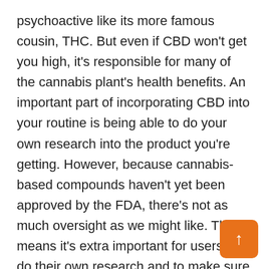psychoactive like its more famous cousin, THC. But even if CBD won't get you high, it's responsible for many of the cannabis plant's health benefits. An important part of incorporating CBD into your routine is being able to do your own research into the product you're getting. However, because cannabis-based compounds haven't yet been approved by the FDA, there's not as much oversight as we might like. That means it's extra important for users to do their own research and to make sure they know exactly what they're buying.
With a relatively high THC, this plant packs a much heavier punch when it comes to the cerebral buzz. Critical Mass is best known for its pungent sme… consisting of tones of skunk, citrus and earth. The …